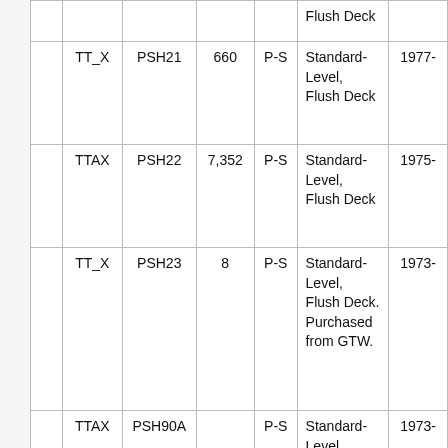|  |  |  |  |  | Flush Deck |  |
|  | TT_X | PSH21 | 660 | P-S | Standard-Level, Flush Deck | 1977- |
|  | TTAX | PSH22 | 7,352 | P-S | Standard-Level, Flush Deck | 1975- |
|  | TT_X | PSH23 | 8 | P-S | Standard-Level, Flush Deck. Purchased from GTW. | 1973- |
|  | TTAX | PSH90A |  | P-S | Standard-Level, Flush Deck. Converted from 300 PSF20. | 1973- |